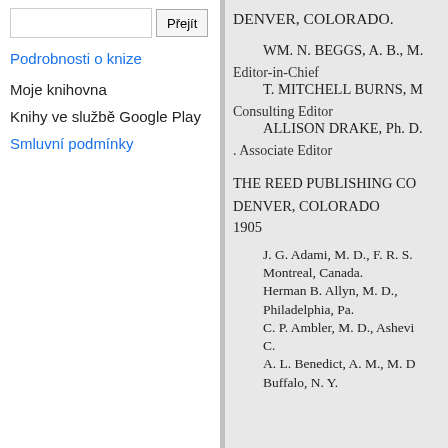Přejít (search button)
Podrobnosti o knize
Moje knihovna
Knihy ve službě Google Play
Smluvní podmínky
DENVER, COLORADO.
WM. N. BEGGS, A. B., M. ... Editor-in-Chief
T. MITCHELL BURNS, M... Consulting Editor
ALLISON DRAKE, Ph. D. ... Associate Editor
THE REED PUBLISHING CO...
DENVER, COLORADO
1905
J. G. Adami, M. D., F. R. S... Montreal, Canada.
Herman B. Allyn, M. D., Philadelphia, Pa.
C. P. Ambler, M. D., Ashevi... C.
A. L. Benedict, A. M., M. D... Buffalo, N. Y.